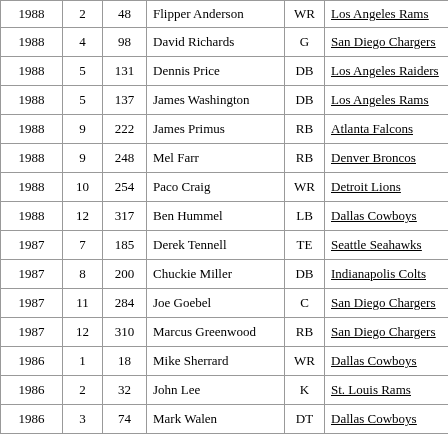| Year | Round | Pick | Player | Pos | Team |
| --- | --- | --- | --- | --- | --- |
| 1988 | 2 | 48 | Flipper Anderson | WR | Los Angeles Rams |
| 1988 | 4 | 98 | David Richards | G | San Diego Chargers |
| 1988 | 5 | 131 | Dennis Price | DB | Los Angeles Raiders |
| 1988 | 5 | 137 | James Washington | DB | Los Angeles Rams |
| 1988 | 9 | 222 | James Primus | RB | Atlanta Falcons |
| 1988 | 9 | 248 | Mel Farr | RB | Denver Broncos |
| 1988 | 10 | 254 | Paco Craig | WR | Detroit Lions |
| 1988 | 12 | 317 | Ben Hummel | LB | Dallas Cowboys |
| 1987 | 7 | 185 | Derek Tennell | TE | Seattle Seahawks |
| 1987 | 8 | 200 | Chuckie Miller | DB | Indianapolis Colts |
| 1987 | 11 | 284 | Joe Goebel | C | San Diego Chargers |
| 1987 | 12 | 310 | Marcus Greenwood | RB | San Diego Chargers |
| 1986 | 1 | 18 | Mike Sherrard | WR | Dallas Cowboys |
| 1986 | 2 | 32 | John Lee | K | St. Louis Rams |
| 1986 | 3 | 74 | Mark Walen | DT | Dallas Cowboys |